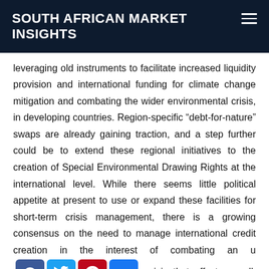SOUTH AFRICAN MARKET INSIGHTS
leveraging old instruments to facilitate increased liquidity provision and international funding for climate change mitigation and combating the wider environmental crisis, in developing countries. Region-specific “debt-for-nature” swaps are already gaining traction, and a step further could be to extend these regional initiatives to the creation of Special Environmental Drawing Rights at the international level. While there seems little political appetite at present to use or expand these facilities for short-term crisis management, there is a growing consensus on the need to manage international credit creation in the interest of combating an u [social icons] crisis that affects us all. Furthermor… [political consensus